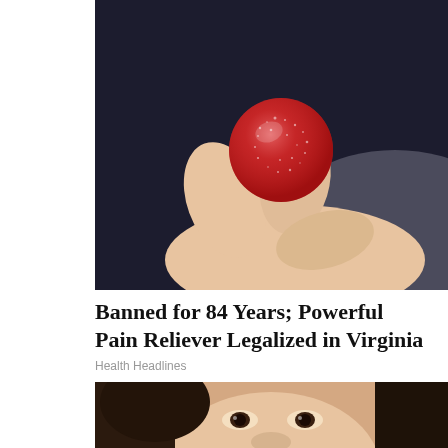[Figure (photo): Close-up photo of a hand (fingers) holding a small round red sugar-coated gummy candy against a dark background]
Banned for 84 Years; Powerful Pain Reliever Legalized in Virginia
Health Headlines
[Figure (photo): Close-up photo of an Asian woman's face, partially visible, looking upward, with dark hair]